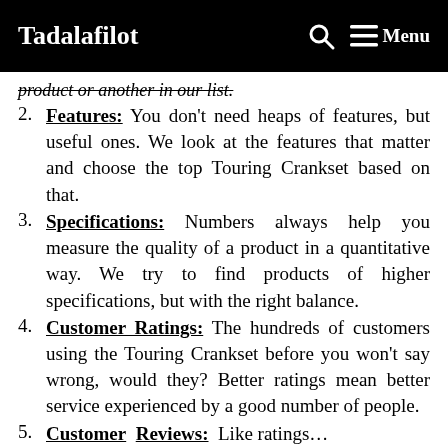Tadalafilot   [search icon]   ☰ Menu
product or another in our list.
2. Features: You don't need heaps of features, but useful ones. We look at the features that matter and choose the top Touring Crankset based on that.
3. Specifications: Numbers always help you measure the quality of a product in a quantitative way. We try to find products of higher specifications, but with the right balance.
4. Customer Ratings: The hundreds of customers using the Touring Crankset before you won't say wrong, would they? Better ratings mean better service experienced by a good number of people.
5. Customer Reviews: Like ratings…